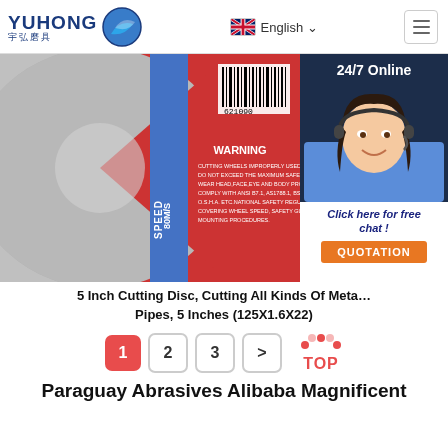YUHONG 宇弘磨具 | English | Menu
[Figure (photo): Close-up photo of a 5-inch cutting disc showing WARNING label with safety text, SPEED 80M/S marking, barcode, and red/blue/silver surface. Overlaid with a 24/7 Online customer service panel showing a smiling female agent with headset, 'Click here for free chat!' text, and QUOTATION button.]
5 Inch Cutting Disc, Cutting All Kinds Of Metal Pipes, 5 Inches (125X1.6X22)
1
2
3
>
Paraguay Abrasives Alibaba Magnificent